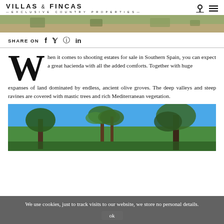VILLAS & FINCAS EXCLUSIVE COUNTRY PROPERTIES
[Figure (photo): Landscape photo of rocky terrain with vegetation, top banner]
SHARE ON
When it comes to shooting estates for sale in Southern Spain, you can expect a great hacienda with all the added comforts. Together with huge expanses of land dominated by endless, ancient olive groves. The deep valleys and steep ravines are covered with mastic trees and rich Mediterranean vegetation.
[Figure (photo): Photo of palm trees and green trees against blue sky]
We use cookies, just to track visits to our website, we store no personal details. ok